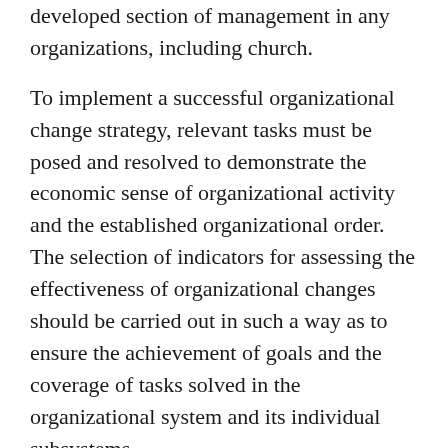developed section of management in any organizations, including church.
To implement a successful organizational change strategy, relevant tasks must be posed and resolved to demonstrate the economic sense of organizational activity and the established organizational order. The selection of indicators for assessing the effectiveness of organizational changes should be carried out in such a way as to ensure the achievement of goals and the coverage of tasks solved in the organizational system and its individual subsystems.
From these positions, conducting research on the formation of a system of indicators that most fully reflects the effectiveness and efficiency of organizational changes is relevant. Depending on the type of tasks to be solved by separate functional subsystems, the effect of the functioning of organizational systems can be determined using